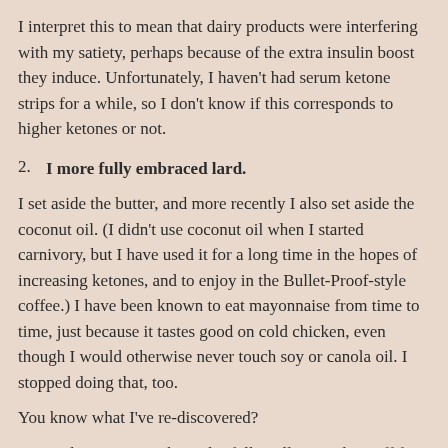I interpret this to mean that dairy products were interfering with my satiety, perhaps because of the extra insulin boost they induce. Unfortunately, I haven't had serum ketone strips for a while, so I don't know if this corresponds to higher ketones or not.
2. I more fully embraced lard.
I set aside the butter, and more recently I also set aside the coconut oil. (I didn't use coconut oil when I started carnivory, but I have used it for a long time in the hopes of increasing ketones, and to enjoy in the Bullet-Proof-style coffee.) I have been known to eat mayonnaise from time to time, just because it tastes good on cold chicken, even though I would otherwise never touch soy or canola oil. I stopped doing that, too.
You know what I've re-discovered?
Bacon drippings. I've been dutifully collecting the stuff for years, filtering it through a paper towel, and frying with it. Still, it always would get to the point where I had more than I was using. But now I'm eating it.